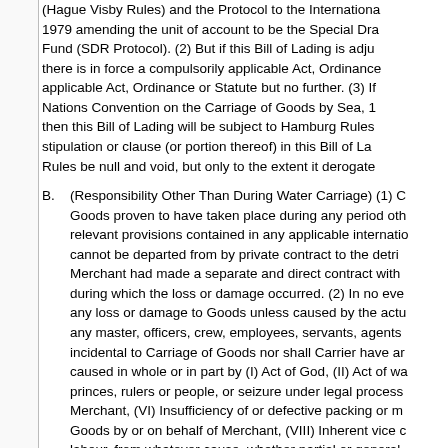(Hague Visby Rules) and the Protocol to the International... 1979 amending the unit of account to be the Special Drawing Fund (SDR Protocol). (2) But if this Bill of Lading is adju... there is in force a compulsorily applicable Act, Ordinance... applicable Act, Ordinance or Statute but no further. (3) If... Nations Convention on the Carriage of Goods by Sea, 1... then this Bill of Lading will be subject to Hamburg Rules... stipulation or clause (or portion thereof) in this Bill of La... Rules be null and void, but only to the extent it derogate...
B. (Responsibility Other Than During Water Carriage) (1) C... Goods proven to have taken place during any period oth... relevant provisions contained in any applicable internatio... cannot be departed from by private contract to the detri... Merchant had made a separate and direct contract with... during which the loss or damage occurred. (2) In no eve... any loss or damage to Goods unless caused by the actu... any master, officers, crew, employees, servants, agents... incidental to Carriage of Goods nor shall Carrier have a... caused in whole or in part by (I) Act of God, (II) Act of wa... princes, rulers or people, or seizure under legal process... Merchant, (VI) Insufficiency of or defective packing or m... Goods by or on behalf of Merchant, (VIII) Inherent vice c... labour, from whatever cause, whether partial or general,... and the consequences whereof Carrier could not preve... Compliance with the instructions of any person entitled t... any, during this period exceed US $2.00 per kilo of the g...